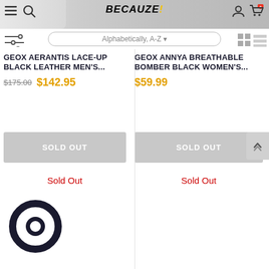[Figure (screenshot): E-commerce website header with logo BECAUZE!, navigation icons, filter icon, alphabetical sort dropdown, and grid/list view toggle]
GEOX AERANTIS LACE-UP BLACK LEATHER MEN'S...
$175.00 $142.95
SOLD OUT
GEOX ANNYA BREATHABLE BOMBER BLACK WOMEN'S...
$59.99
SOLD OUT
Sold Out
Sold Out
[Figure (logo): Chat bubble icon in dark navy/black, circular shape]